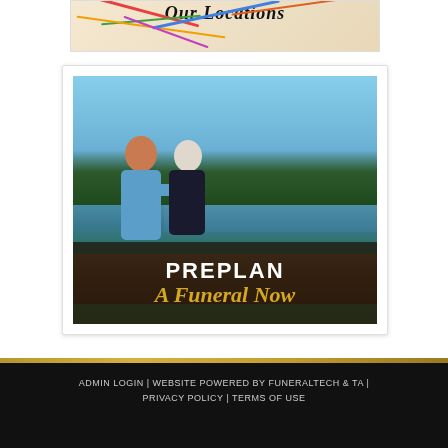[Figure (photo): Partial top strip showing a decorative map with colorful route lines and cursive title text 'Our Locations']
[Figure (photo): Promotional banner card with photo of two people sitting on a bench from behind, overlooking a lake with trees and sky. Brown wooden rail in foreground. Text overlay reads 'PREPLAN A Funeral Now' in white and gold.]
ADMIN LOGIN | WEBSITE POWERED BY FUNERALTECH & TA | PRIVACY POLICY | TERMS OF USE